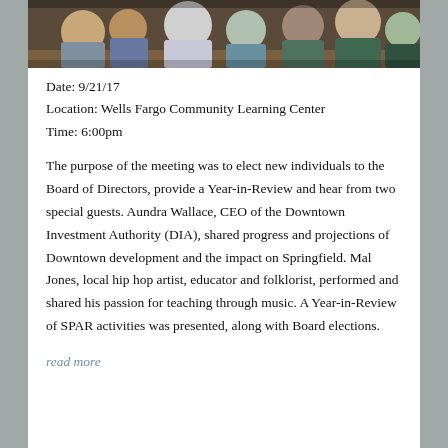[Figure (photo): A group of people seated indoors, appearing to be at a community meeting or event.]
Date: 9/21/17
Location: Wells Fargo Community Learning Center
Time: 6:00pm
The purpose of the meeting was to elect new individuals to the Board of Directors, provide a Year-in-Review and hear from two special guests. Aundra Wallace, CEO of the Downtown Investment Authority (DIA), shared progress and projections of Downtown development and the impact on Springfield. Mal Jones, local hip hop artist, educator and folklorist, performed and shared his passion for teaching through music. A Year-in-Review of SPAR activities was presented, along with Board elections.
read more